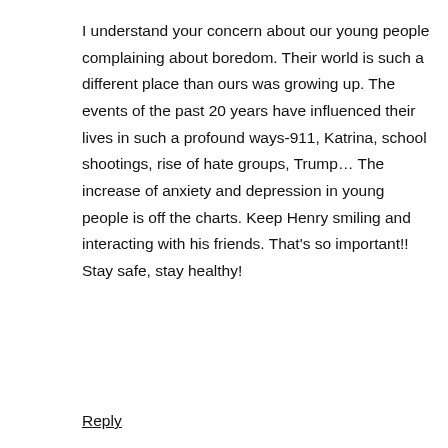I understand your concern about our young people complaining about boredom. Their world is such a different place than ours was growing up. The events of the past 20 years have influenced their lives in such a profound ways-911, Katrina, school shootings, rise of hate groups, Trump… The increase of anxiety and depression in young people is off the charts. Keep Henry smiling and interacting with his friends. That's so important!! Stay safe, stay healthy!
Reply